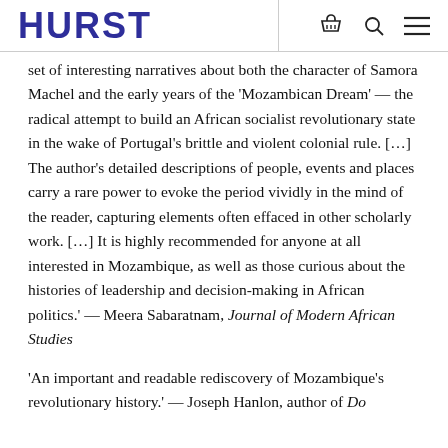HURST
set of interesting narratives about both the character of Samora Machel and the early years of the 'Mozambican Dream' — the radical attempt to build an African socialist revolutionary state in the wake of Portugal's brittle and violent colonial rule. […] The author's detailed descriptions of people, events and places carry a rare power to evoke the period vividly in the mind of the reader, capturing elements often effaced in other scholarly work. […] It is highly recommended for anyone at all interested in Mozambique, as well as those curious about the histories of leadership and decision-making in African politics.' — Meera Sabaratnam, Journal of Modern African Studies
'An important and readable rediscovery of Mozambique's revolutionary history.' — Joseph Hanlon, author of Do